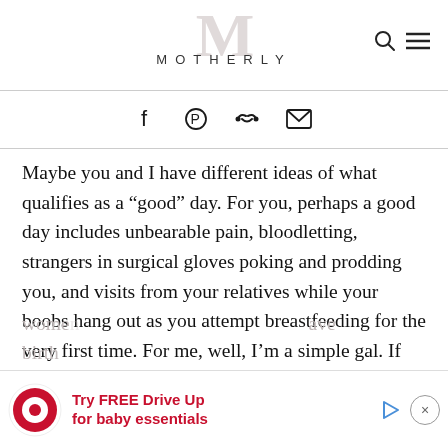MOTHERLY
Maybe you and I have different ideas of what qualifies as a “good” day. For you, perhaps a good day includes unbearable pain, bloodletting, strangers in surgical gloves poking and prodding you, and visits from your relatives while your boobs hang out as you attempt breastfeeding for the very first time. For me, well, I’m a simple gal. If someone tells me my hair looks nice, it has been a good day. But please, nothing involving blood. This is why I don’t understand why so many women... have birth...
[Figure (screenshot): Target advertisement banner: Try FREE Drive Up for baby essentials]